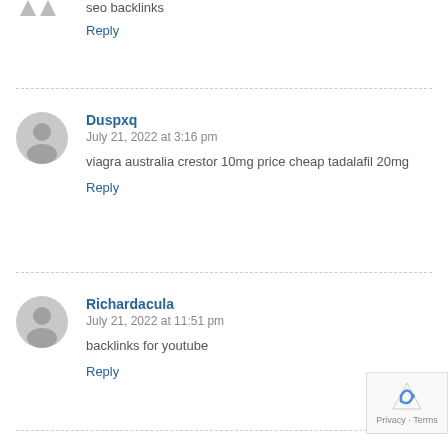seo backlinks
Reply
Duspxq
July 21, 2022 at 3:16 pm
viagra australia crestor 10mg price cheap tadalafil 20mg
Reply
Richardacula
July 21, 2022 at 11:51 pm
backlinks for youtube
Reply